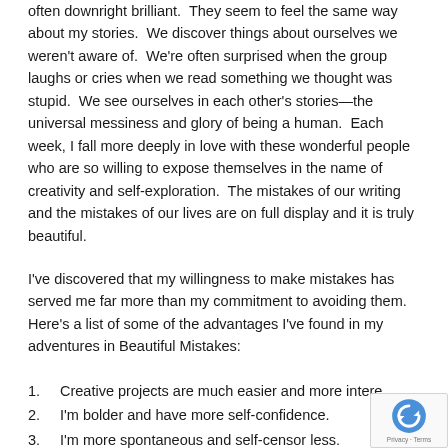often downright brilliant.  They seem to feel the same way about my stories.  We discover things about ourselves we weren't aware of.  We're often surprised when the group laughs or cries when we read something we thought was stupid.  We see ourselves in each other's stories—the universal messiness and glory of being a human.  Each week, I fall more deeply in love with these wonderful people who are so willing to expose themselves in the name of creativity and self-exploration.  The mistakes of our writing and the mistakes of our lives are on full display and it is truly beautiful.
I've discovered that my willingness to make mistakes has served me far more than my commitment to avoiding them.  Here's a list of some of the advantages I've found in my adventures in Beautiful Mistakes:
Creative projects are much easier and more intere...
I'm bolder and have more self-confidence.
I'm more spontaneous and self-censor less.